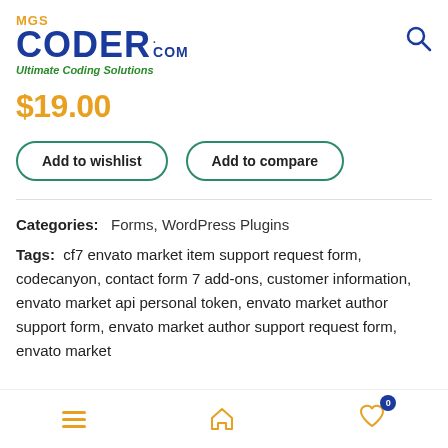[Figure (logo): MGS Coder .com logo with orange MGS text, blue CODER text, .com in blue, and green 'Ultimate Coding Solutions' tagline]
$19.00
Add to wishlist
Add to compare
Categories:   Forms, WordPress Plugins
Tags:   cf7 envato market item support request form, codecanyon, contact form 7 add-ons, customer information, envato market api personal token, envato market author support form, envato market author support request form, envato market
Navigation bar with hamburger menu, home icon, and wishlist icon with badge 0